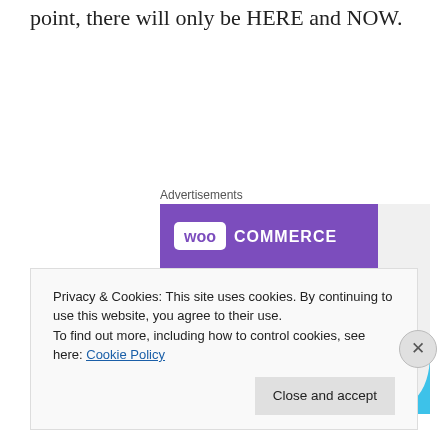point, there will only be HERE and NOW.
Advertisements
[Figure (illustration): WooCommerce advertisement banner showing the WooCommerce logo on a purple background with teal and blue geometric shapes, and headline 'How to start selling subscriptions online']
Privacy & Cookies: This site uses cookies. By continuing to use this website, you agree to their use.
To find out more, including how to control cookies, see here: Cookie Policy
Close and accept